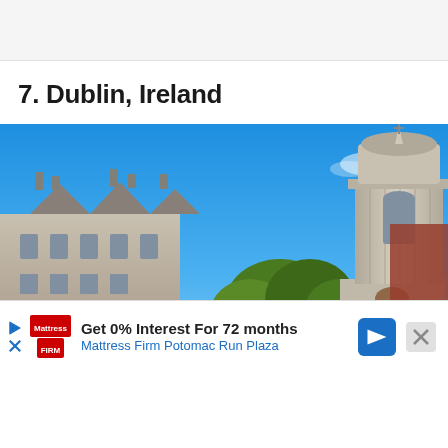7. Dublin, Ireland
[Figure (photo): Photo of Trinity College Dublin showing historic stone buildings and the Campanile bell tower against a bright blue sky with green trees in the foreground]
Get 0% Interest For 72 months Mattress Firm Potomac Run Plaza